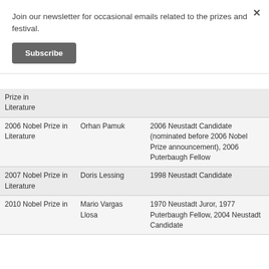Join our newsletter for occasional emails related to the prizes and festival.
Subscribe
| Award | Author | Connection |
| --- | --- | --- |
| Prize in
Literature |  |  |
| 2006 Nobel Prize in Literature | Orhan Pamuk | 2006 Neustadt Candidate (nominated before 2006 Nobel Prize announcement), 2006 Puterbaugh Fellow |
| 2007 Nobel Prize in Literature | Doris Lessing | 1998 Neustadt Candidate |
| 2010 Nobel Prize in Literature | Mario Vargas Llosa | 1970 Neustadt Juror, 1977 Puterbaugh Fellow, 2004 Neustadt Candidate |